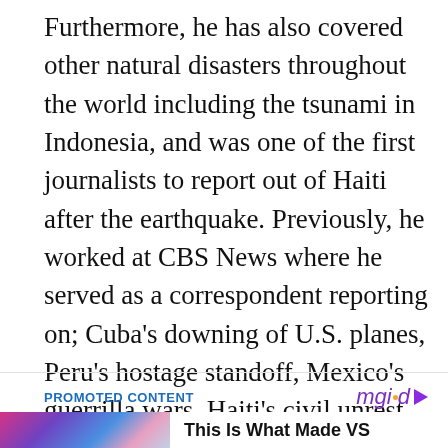Furthermore, he has also covered other natural disasters throughout the world including the tsunami in Indonesia, and was one of the first journalists to report out of Haiti after the earthquake. Previously, he worked at CBS News where he served as a correspondent reporting on; Cuba’s downing of U.S. planes, Peru’s hostage standoff, Mexico’s guerrilla wars, Haiti’s civil unrest, and other airline disasters.
PROMOTED CONTENT
[Figure (other): mgid logo with purple triangle play button and orange dot]
[Figure (photo): Thumbnail image with colorful background (pink, purple, blue tones) next to text 'This Is What Made VS']